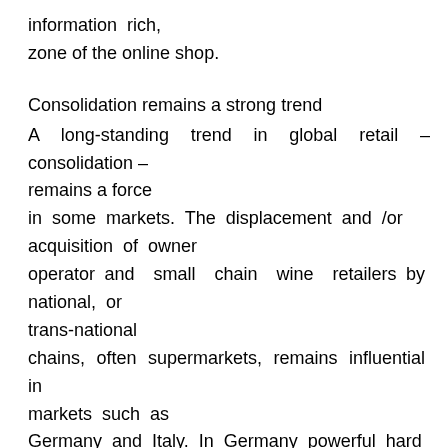information  rich,
zone of the online shop.
Consolidation remains a strong trend
A long-standing trend in global retail – consolidation – remains a force in some markets. The displacement and /or acquisition of owner operator and small chain wine retailers by national, or trans-national chains, often supermarkets, remains influential in markets such as Germany and Italy. In Germany powerful hard discount chains have been the main driver, however recently the trend has developed a new